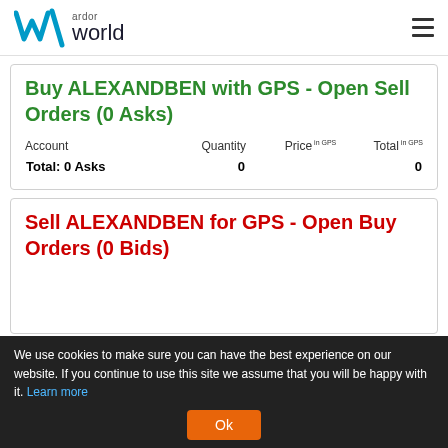ardor world
Buy ALEXANDBEN with GPS - Open Sell Orders (0 Asks)
| Account | Quantity | Price in GPS | Total in GPS |
| --- | --- | --- | --- |
| Total: 0 Asks | 0 |  | 0 |
Sell ALEXANDBEN for GPS - Open Buy Orders (0 Bids)
We use cookies to make sure you can have the best experience on our website. If you continue to use this site we assume that you will be happy with it. Learn more
Ok